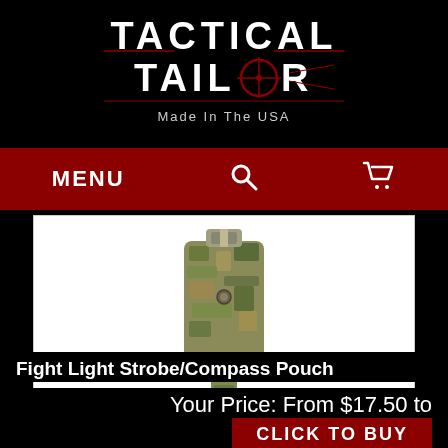[Figure (logo): Tactical Tailor logo with crosshair O, Made In The USA tagline, on black background]
MENU  🔍  🛒
[Figure (photo): Fight Light Strobe/Compass Pouch in multicam camouflage pattern, showing strap and buckle hardware, on white background]
Fight Light Strobe/Compass Pouch
Your Price: From $17.50 to $18.50
CLICK TO BUY